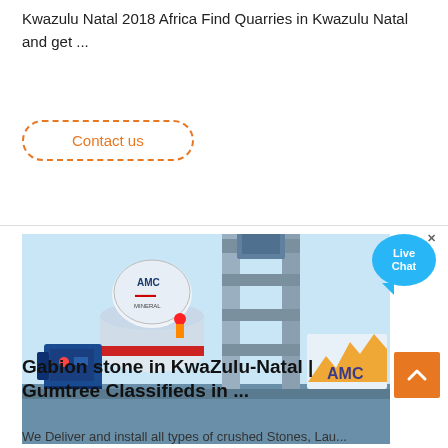Kwazulu Natal 2018 Africa Find Quarries in Kwazulu Natal and get ...
Contact us
[Figure (photo): Industrial mining/crushing machine with AMC branding. A cone crusher or similar heavy equipment is visible with blue motor on left, cylindrical tank with AMC logo, metal frame structure, and AMC logo signage on right side.]
[Figure (other): Live Chat button bubble in cyan/blue color]
Gabion stone in KwaZulu-Natal | Gumtree Classifieds in ...
We Deliver and install all types of crushed Stones, Laun...